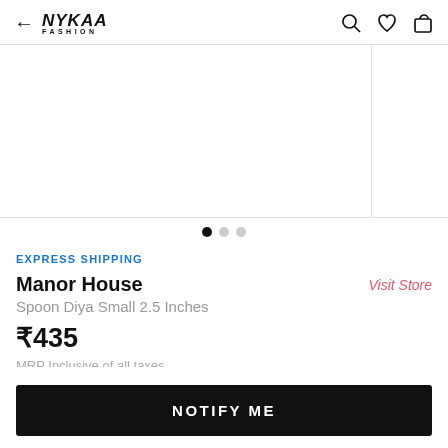Nykaa Fashion — navigation header with back arrow, search, wishlist, and cart icons
[Figure (photo): Product image carousel showing a partially visible product image (white/blank) with a secondary image partially visible on the right]
EXPRESS SHIPPING
Manor House
Visit Store
Spoon Diya Small 2.5 Inches
₹435
MRP Inclusive of all taxes
NOTIFY ME